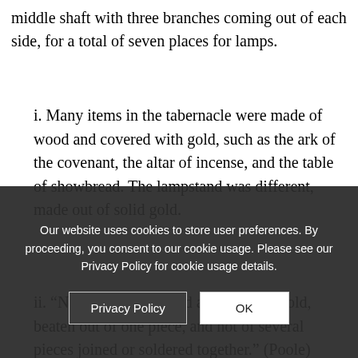middle shaft with three branches coming out of each side, for a total of seven places for lamps.
i. Many items in the tabernacle were made of wood and covered with gold, such as the ark of the covenant, the altar of incense, and the table of showbread. The lampstand was different, made out of solid gold.
ii. “Not hollow, but solid and massive gold, beaten out of one piece, and not of several pieces joined or soldered together.” (Poole)
iii. Moreover of gold, John Trapp, moreover add, On the King’s service, beaten gold” – To beaten gold, To ministers must beat their brains to be sense of the Scriptures, as the fo shell, to get out the fish with...
Our website uses cookies to store user preferences. By proceeding, you consent to our cookie usage. Please see our Privacy Policy for cookie usage details.